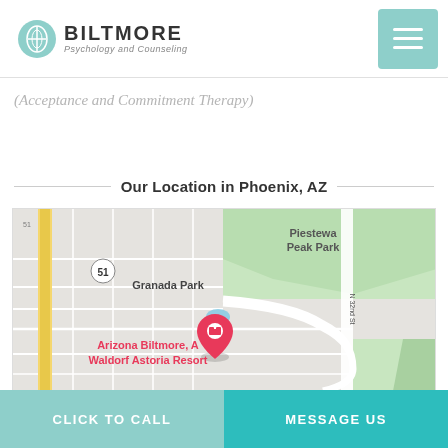BILTMORE Psychology and Counseling
(Acceptance and Commitment Therapy)
Our Location in Phoenix, AZ
[Figure (map): Google Maps view showing Piestewa Peak Park, Granada Park, N 32nd St, route 51, and a pink marker for Arizona Biltmore, A Waldorf Astoria Resort in Phoenix, AZ.]
CLICK TO CALL   MESSAGE US